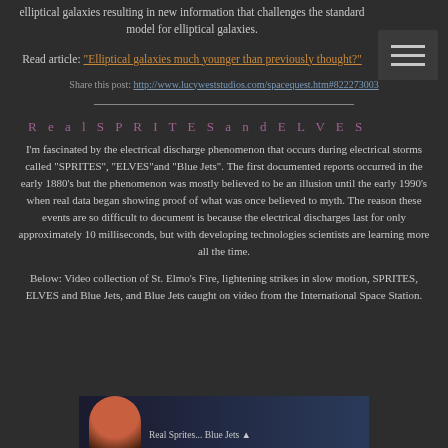elliptical galaxies resulting in new information that challenges the standard model for elliptical galaxies.
Read article: "Elliptical galaxies much younger than previously thought?"
Share this post: http://www.lucyweststudios.com/spacequest.htm#822273003
R e a l S P R I T E S a n d E L V E S
I'm fascinated by the electrical discharge phenomenon that occurs during electrical storms called "SPRITES", "ELVES"and "Blue Jets". The first documented reports occurred in the early 1880's but the phenomenon was mostly believed to be an illusion until the early 1990's when real data began showing proof of what was once believed to myth. The reason these events are so difficult to document is because the electrical discharges last for only approximately 10 milliseconds, but with developing technologies scientists are learning more all the time.
Below: Video collection of St. Elmo's Fire, lightening strikes in slow motion, SPRITES, ELVES and Blue Jets, and Blue Jets caught on video from the International Space Station.
[Figure (photo): Thumbnail image showing a person's face with red hair at the bottom of the page, with dark blue background and text overlay beginning with 'Real Sprites...']